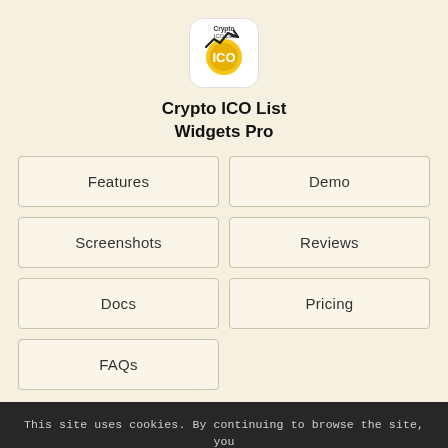[Figure (logo): Crypto ICO List app icon — white rounded square with ICO logo and upward chart line]
Crypto ICO List
Widgets Pro
Features
Demo
Screenshots
Reviews
Docs
Pricing
FAQs
This site uses cookies. By continuing to browse the site, you are agreeing to our use of cookies.
OK! Accepted
Learn More
DexCheck (DYCHECK)
ICO
Check DexCheck (DXCHECK) ICO start date, end
Bitcoin (BTC) $19,847.91 ↑ 0.310%    Ethereum (ETH) $1,574